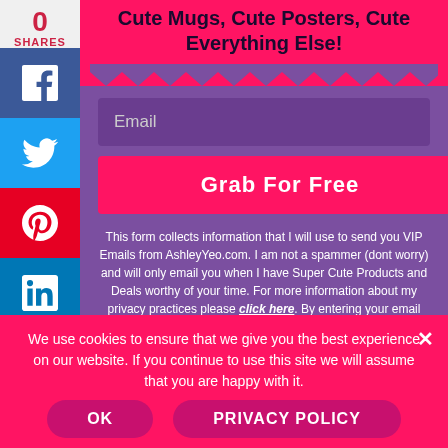Cute Mugs, Cute Posters, Cute Everything Else!
Email
Grab For Free
This form collects information that I will use to send you VIP Emails from AshleyYeo.com. I am not a spammer (dont worry) and will only email you when I have Super Cute Products and Deals worthy of your time. For more information about my privacy practices please click here. By entering your email above, you agree that I may process your information in
We use cookies to ensure that we give you the best experience on our website. If you continue to use this site we will assume that you are happy with it.
OK
PRIVACY POLICY